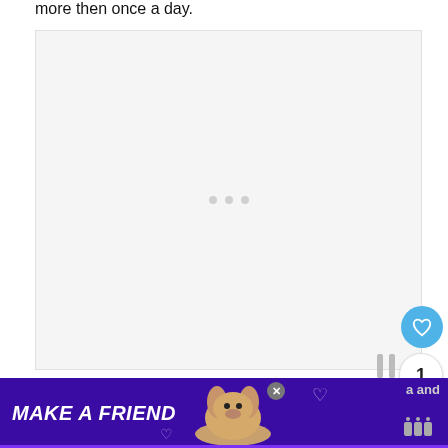more then once a day.
[Figure (other): Large light gray advertisement placeholder box with three small gray dots centered in the middle, indicating a loading or empty ad unit. A blue circular heart/like button is visible at the bottom right, along with a count badge showing '1', a pause icon, and a share icon.]
I did love this particular hanging basket,  which was
[Figure (other): Purple advertisement banner at the bottom of the page reading 'MAKE A FRIEND' in white bold italic text, with an image of a basset hound dog, a close (X) button, heart outline decorations, and text 'a and' and a paw icon on the right side.]